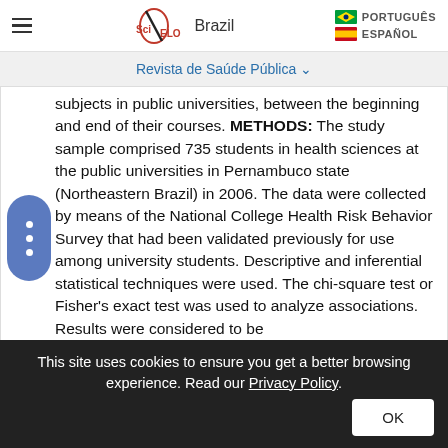SciELO Brazil | PORTUGUÊS | ESPAÑOL
Revista de Saúde Pública
subjects in public universities, between the beginning and end of their courses. METHODS: The study sample comprised 735 students in health sciences at the public universities in Pernambuco state (Northeastern Brazil) in 2006. The data were collected by means of the National College Health Risk Behavior Survey that had been validated previously for use among university students. Descriptive and inferential statistical techniques were used. The chi-square test or Fisher's exact test was used to analyze associations. Results were considered to be
This site uses cookies to ensure you get a better browsing experience. Read our Privacy Policy.